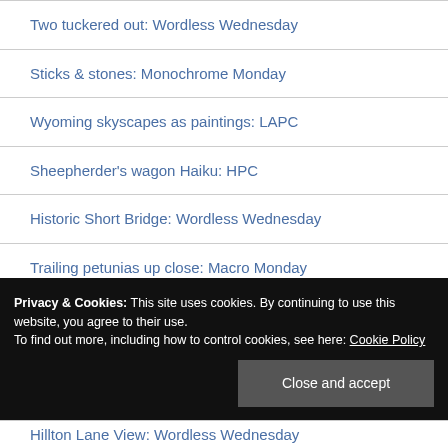Two tuckered out: Wordless Wednesday
Sticks & stones: Monochrome Monday
Wyoming skyscapes as paintings: LAPC
Sheepherder's wagon Haiku: HPC
Historic Short Bridge: Wordless Wednesday
Trailing petunias up close: Macro Monday
Privacy & Cookies: This site uses cookies. By continuing to use this website, you agree to their use.
To find out more, including how to control cookies, see here: Cookie Policy
Hillton Lane View: Wordless Wednesday